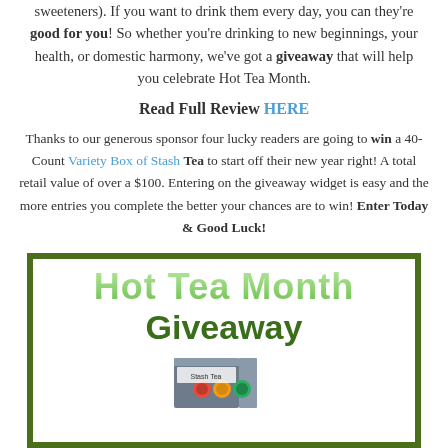sweeteners). If you want to drink them every day, you can they're good for you! So whether you're drinking to new beginnings, your health, or domestic harmony, we've got a giveaway that will help you celebrate Hot Tea Month.
Read Full Review HERE
Thanks to our generous sponsor four lucky readers are going to win a 40-Count Variety Box of Stash Tea to start off their new year right! A total retail value of over a $100. Entering on the giveaway widget is easy and the more entries you complete the better your chances are to win! Enter Today & Good Luck!
[Figure (illustration): Hot Tea Month Giveaway promotional image with dark green border, large gradient green text reading 'Hot Tea Month' and dark green bold text 'Giveaway' below, with a tea box illustration at the bottom]